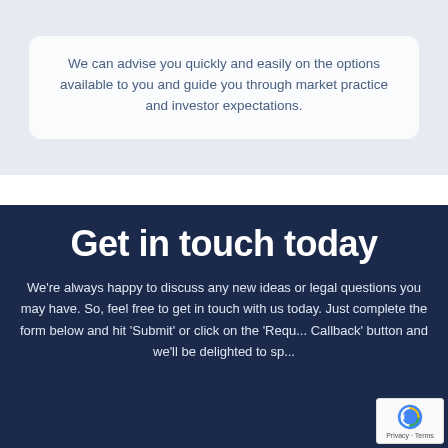We can advise you quickly and easily on the options available to you and guide you through market practice and investor expectations.
Get in touch today
We're always happy to discuss any new ideas or legal questions you may have. So, feel free to get in touch with us today. Just complete the form below and hit 'Submit' or click on the 'Request a Callback' button and we'll be delighted to speak to you.